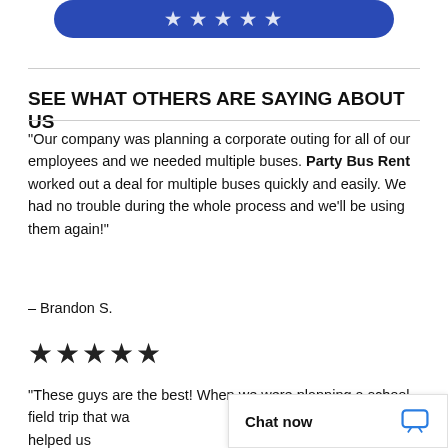[Figure (other): Blue rounded button at top, partially visible]
SEE WHAT OTHERS ARE SAYING ABOUT US
“Our company was planning a corporate outing for all of our employees and we needed multiple buses. Party Bus Rent worked out a deal for multiple buses quickly and easily. We had no trouble during the whole process and we’ll be using them again!”
– Brandon S.
[Figure (other): Five black stars rating]
“These guys are the best! When we were planning a school field trip that wa... charter they helped us...
[Figure (other): Chat now widget in bottom right corner]